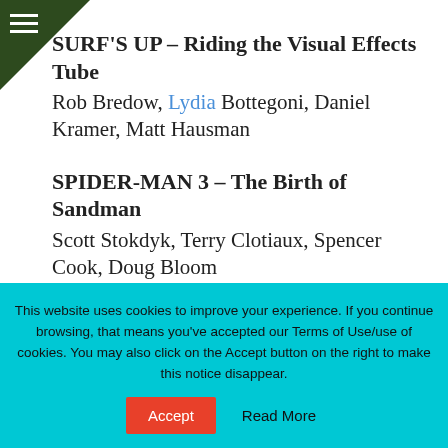SURF'S UP – Riding the Visual Effects Tube
Rob Bredow, Lydia Bottegoni, Daniel Kramer, Matt Hausman
SPIDER-MAN 3 – The Birth of Sandman
Scott Stokdyk, Terry Clotiaux, Spencer Cook, Doug Bloom
Outstanding Animated Character in a Live Action Motion Picture
SPIDER-MAN 3 – Sandman
This website uses cookies to improve your experience. If you continue browsing, that means you've accepted our Terms of Use/use of cookies. You may also click on the Accept button on the right to make this notice disappear.